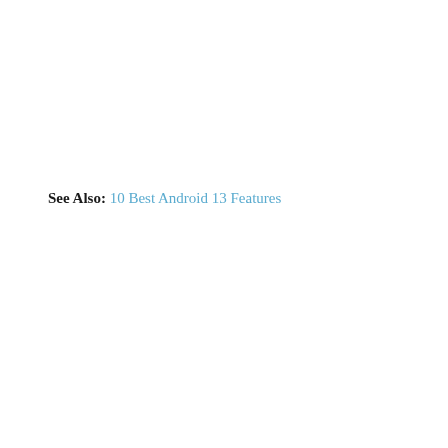See Also: 10 Best Android 13 Features